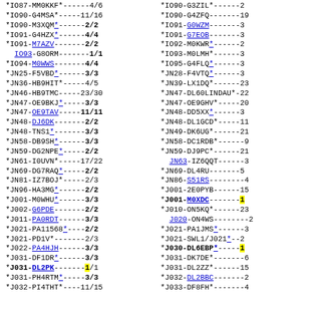Left column and right column listing of amateur radio contact records with callsigns, scores and fractions.